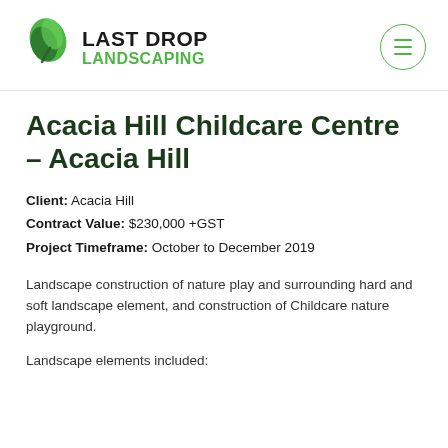[Figure (logo): Last Drop Landscaping logo with green leaf icon and bold text]
Acacia Hill Childcare Centre – Acacia Hill
Client: Acacia Hill
Contract Value: $230,000 +GST
Project Timeframe: October to December 2019
Landscape construction of nature play and surrounding hard and soft landscape element, and construction of Childcare nature playground.
Landscape elements included: